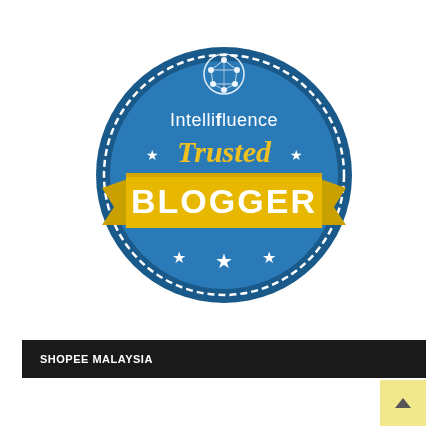[Figure (logo): Intellifluence Trusted Blogger badge — a circular teal/blue badge with scalloped edge, network/brain icon at top, text 'Intellifluence' in white, 'Trusted' in yellow script, stars on both sides, and a yellow ribbon banner across the middle with 'BLOGGER' in large bold white text, three stars at the bottom inside the circle.]
SHOPEE MALAYSIA